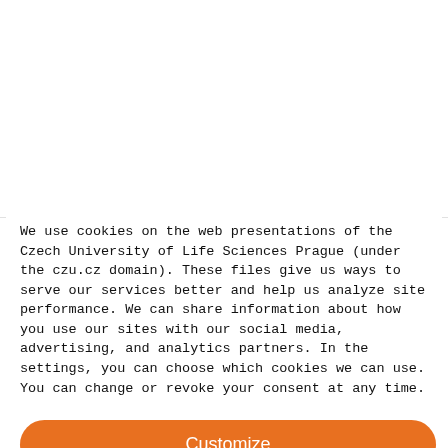We use cookies on the web presentations of the Czech University of Life Sciences Prague (under the czu.cz domain). These files give us ways to serve our services better and help us analyze site performance. We can share information about how you use our sites with our social media, advertising, and analytics partners. In the settings, you can choose which cookies we can use. You can change or revoke your consent at any time.
Customize
Deny
Allow all